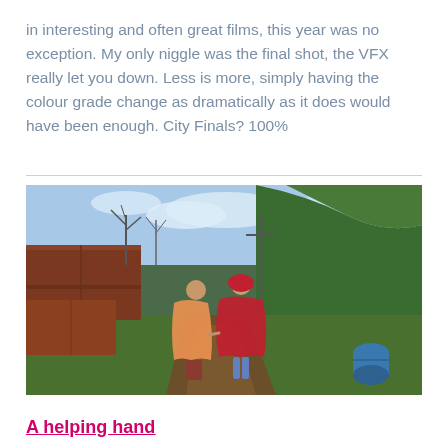in interesting and often great films, this year was no exception. My only niggle was the final shot, the VFX really let you down. Less is more, simply having the colour grade change as dramatically as it does would have been enough. City Finals? 100%
[Figure (photo): Two people walking away from camera along a muddy rural track, one wearing an orange poncho-style rain cape and the other a red hooded cloak, holding hands. Brown shipping containers on the left, green hillside on the right, blue barrel in background, blue sky with light clouds.]
A helping hand